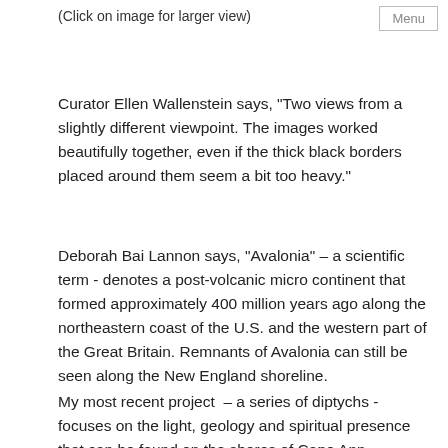(Click on image for larger view)
Menu
Curator Ellen Wallenstein says, "Two views from a slightly different viewpoint. The images worked beautifully together, even if the thick black borders placed around them seem a bit too heavy."
Deborah Bai Lannon says, "Avalonia" – a scientific term - denotes a post-volcanic micro continent that formed approximately 400 million years ago along the northeastern coast of the U.S. and the western part of the Great Britain. Remnants of Avalonia can still be seen along the New England shoreline.
My most recent project – a series of diptychs - focuses on the light, geology and spiritual presence that can be found on the shores of Cape Ann, Massachusetts. It's against this elemental backdrop of infinity and erosion that I find collective human memories are innocently stamped, erased and stamped again.